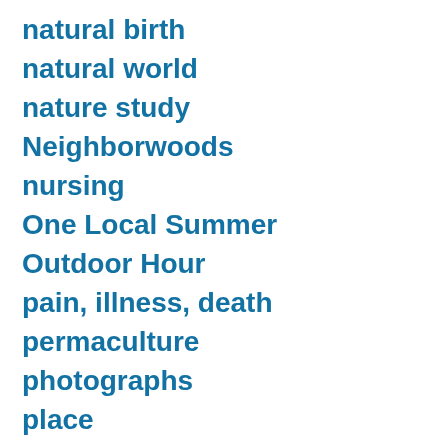natural birth
natural world
nature study
Neighborwoods
nursing
One Local Summer
Outdoor Hour
pain, illness, death
permaculture
photographs
place